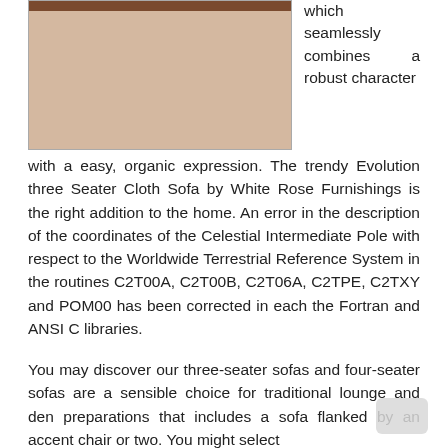[Figure (photo): Partial image of a sofa with a dark brown top bar visible, set in a bordered image box on the left side of the page.]
which seamlessly combines a robust character with a easy, organic expression. The trendy Evolution three Seater Cloth Sofa by White Rose Furnishings is the right addition to the home. An error in the description of the coordinates of the Celestial Intermediate Pole with respect to the Worldwide Terrestrial Reference System in the routines C2T00A, C2T00B, C2T06A, C2TPE, C2TXY and POM00 has been corrected in each the Fortran and ANSI C libraries.
You may discover our three-seater sofas and four-seater sofas are a sensible choice for traditional lounge and den preparations that includes a sofa flanked by an accent chair or two. You might select